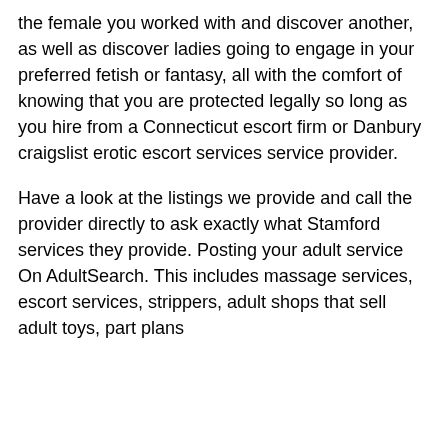the female you worked with and discover another, as well as discover ladies going to engage in your preferred fetish or fantasy, all with the comfort of knowing that you are protected legally so long as you hire from a Connecticut escort firm or Danbury craigslist erotic escort services service provider.
Have a look at the listings we provide and call the provider directly to ask exactly what Stamford services they provide. Posting your adult service On AdultSearch. This includes massage services, escort services, strippers, adult shops that sell adult toys, part plans